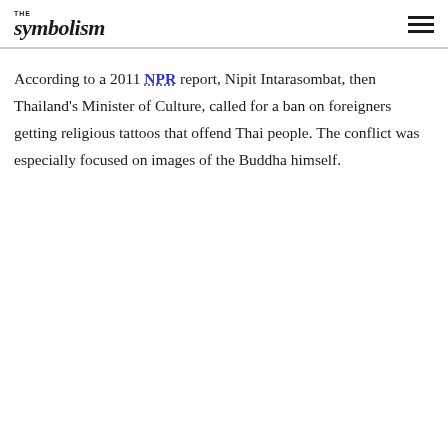THE symbolism
According to a 2011 NPR report, Nipit Intarasombat, then Thailand's Minister of Culture, called for a ban on foreigners getting religious tattoos that offend Thai people. The conflict was especially focused on images of the Buddha himself.